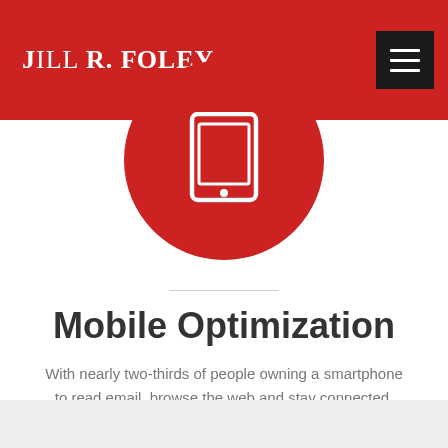JILL R. FOLEY
[Figure (illustration): Red circle containing a white smartphone/tablet icon]
Mobile Optimization
With nearly two-thirds of people owning a smartphone to read email, browse the web and stay connected, mobile design isn't just nice to have, it's a requirement.